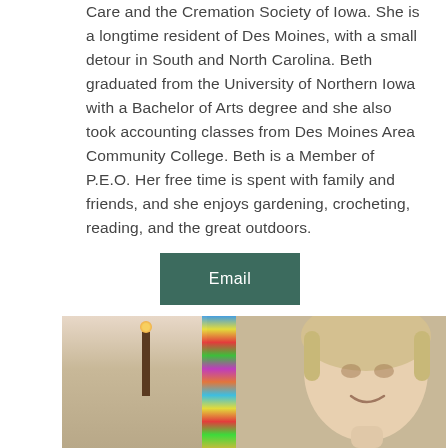Care and the Cremation Society of Iowa. She is a longtime resident of Des Moines, with a small detour in South and North Carolina. Beth graduated from the University of Northern Iowa with a Bachelor of Arts degree and she also took accounting classes from Des Moines Area Community College. Beth is a Member of P.E.O. Her free time is spent with family and friends, and she enjoys gardening, crocheting, reading, and the great outdoors.
[Figure (other): Green button labeled 'Email']
[Figure (photo): Portrait photo of a blonde woman smiling, with a stained glass window visible in the background and a circular teal back-to-top arrow button in the lower left corner]